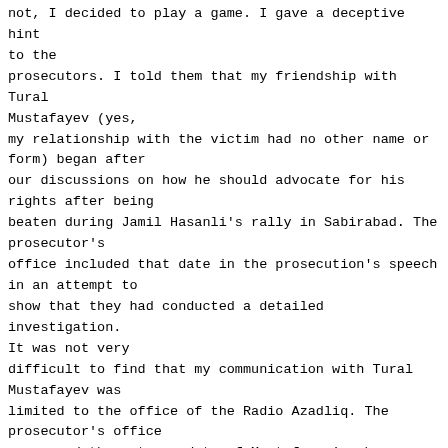not, I decided to play a game. I gave a deceptive hint to the prosecutors. I told them that my friendship with Tural Mustafayev (yes, my relationship with the victim had no other name or form) began after our discussions on how he should advocate for his rights after being beaten during Jamil Hasanli's rally in Sabirabad. The prosecutor's office included that date in the prosecution's speech in an attempt to show that they had conducted a detailed investigation. It was not very difficult to find that my communication with Tural Mustafayev was limited to the office of the Radio Azadliq. The prosecutor's office possessed the antenna data of Mustafayev's phone. These data are in the case file as well and have also been presented to me. For this, they needed to work and examine documents, but the employees of the prosecutor's office do not have time to work. After all, they need time to spend the money they receive in return for their falsifications and slander. Therefore, the president needs to check the effectiveness of the money spent on the repression machine. They do not